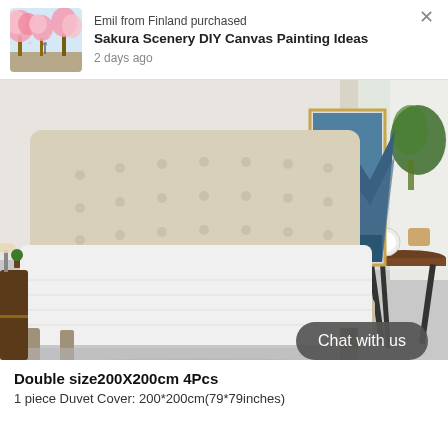[Figure (screenshot): Notification popup: Emil from Finland purchased Sakura Scenery DIY Canvas Painting Ideas, 2 days ago, with sakura tree thumbnail image]
[Figure (photo): Product photo showing a white bed with tufted headboard in a modern bedroom setting with canvas art and side table]
Chat with us
Double size200X200cm 4Pcs
1 piece Duvet Cover: 200*200cm(79*79inches)